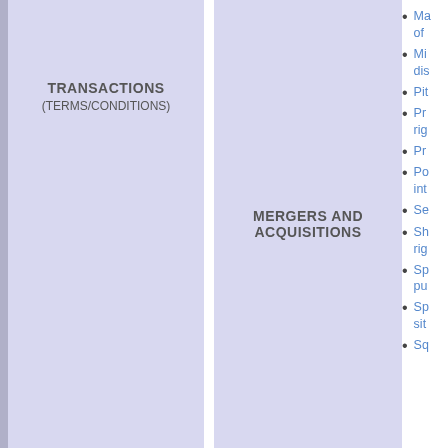[Figure (infographic): Two adjacent lavender/blue panels: left panel labeled TRANSACTIONS (TERMS/CONDITIONS), right panel labeled MERGERS AND ACQUISITIONS]
Ma... of...
Mi... dis...
Pit...
Pr... rig...
Pr...
Po... int...
Se...
Sh... rig...
Sp... pu...
Sp... sit...
Sq...